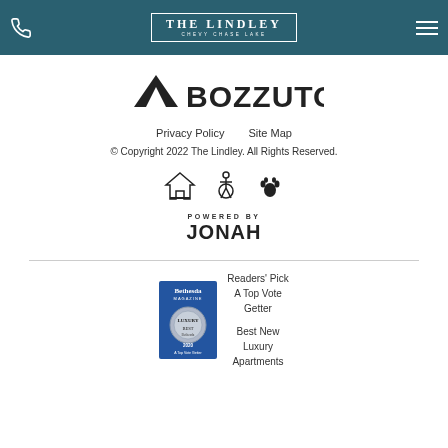THE LINDLEY CHEVY CHASE LAKE — navigation header
[Figure (logo): Bozzuto company logo with triangle icon and bold BOZZUTO text]
Privacy Policy   Site Map
© Copyright 2022 The Lindley. All Rights Reserved.
[Figure (infographic): Three icons: Equal Housing Opportunity, Accessibility (wheelchair), Pet-friendly (paw print)]
[Figure (logo): POWERED BY JONAH logo]
[Figure (other): Bethesda Magazine award badge – 2020 A Top Vote Getter with text: Readers' Pick A Top Vote Getter, Best New Luxury Apartments]